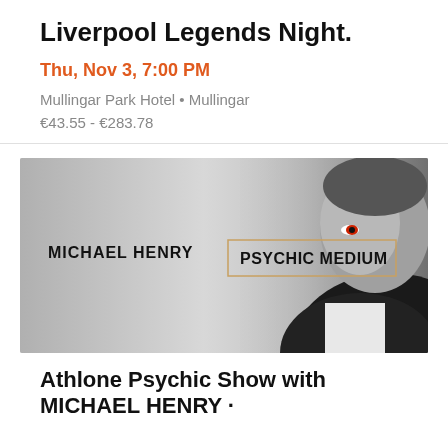Liverpool Legends Night.
Thu, Nov 3, 7:00 PM
Mullingar Park Hotel • Mullingar
€43.55 - €283.78
[Figure (photo): Black and white promotional banner for Michael Henry Psychic Medium, showing a man in a dark suit with intense gaze, text 'MICHAEL HENRY PSYCHIC MEDIUM' overlaid]
Athlone Psychic Show with MICHAEL HENRY ·